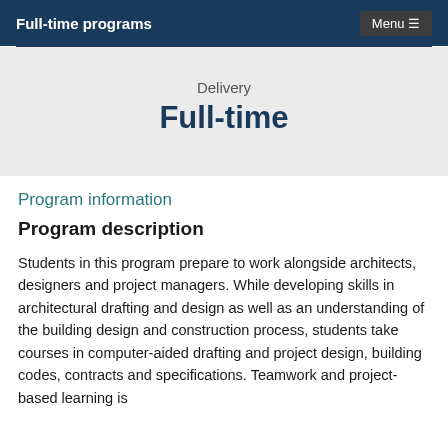Full-time programs
Delivery
Full-time
Program information
Program description
Students in this program prepare to work alongside architects, designers and project managers. While developing skills in architectural drafting and design as well as an understanding of the building design and construction process, students take courses in computer-aided drafting and project design, building codes, contracts and specifications. Teamwork and project-based learning is